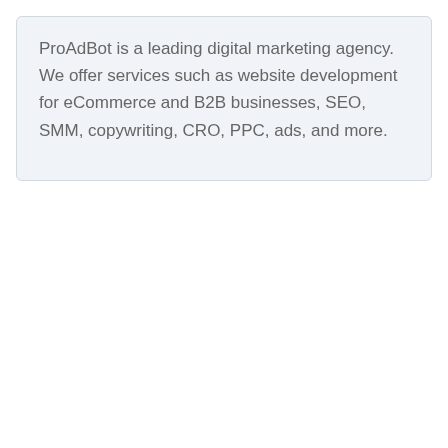ProAdBot is a leading digital marketing agency. We offer services such as website development for eCommerce and B2B businesses, SEO, SMM, copywriting, CRO, PPC, ads, and more.